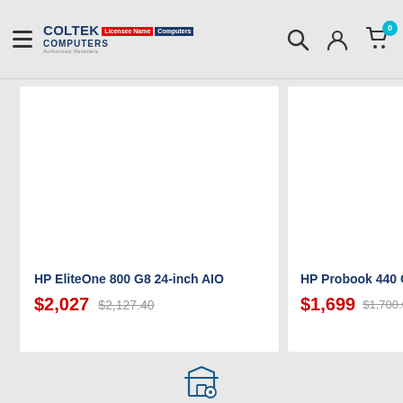[Figure (screenshot): Coltek Computers website header with hamburger menu, logo, search icon, account icon, and cart icon with badge showing 0]
[Figure (photo): HP EliteOne 800 G8 24-inch AIO product image area (white/blank)]
HP EliteOne 800 G8 24-inch AIO
$2,027  $2,127.40
[Figure (photo): HP Probook 440 G9 product image area (white/blank, partially visible)]
HP Probook 440 G9
$1,699  $1,700.60
[Figure (other): Store locator / shop pin icon at bottom center]